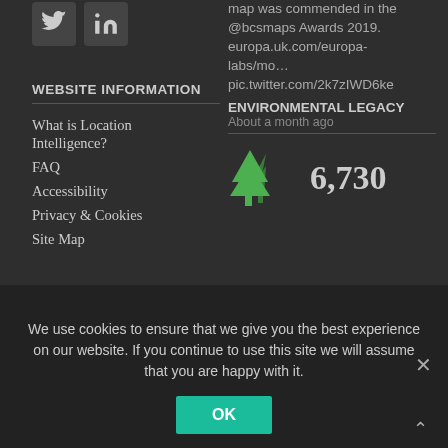[Figure (logo): Twitter bird icon in a dark square]
[Figure (logo): LinkedIn 'in' icon in a dark square]
map was commended in the @bcsmaps Awards 2019. europa.uk.com/europa-labs/mo… pic.twitter.com/2k7zIWD6ke
WEBSITE INFORMATION
ENVIRONMENTAL LEGACY
About a month ago
What is Location Intelligence?
FAQ
Accessibility
Privacy & Cookies
Site Map
[Figure (illustration): Two green tree icons representing environmental legacy]
6,730
We use cookies to ensure that we give you the best experience on our website. If you continue to use this site we will assume that you are happy with it.